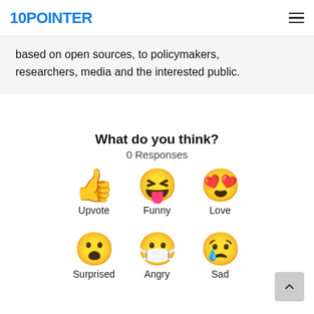10POINTER
based on open sources, to policymakers, researchers, media and the interested public.
What do you think?
0 Responses
[Figure (infographic): Three emoji reaction buttons: thumbs up (Upvote), laughing face with tongue out (Funny), heart-eyes face (Love)]
[Figure (infographic): Three emoji reaction buttons: surprised face (Surprised), sick/crying face with mask (Angry), sad face with tear (Sad)]